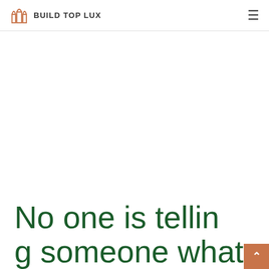BUILD TOP LUX
No one is telling someone what